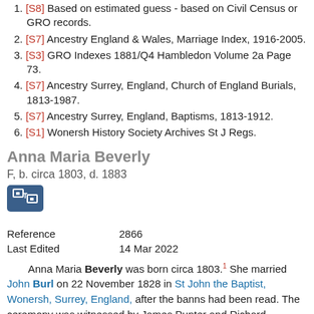1. [S8] Based on estimated guess - based on Civil Census or GRO records.
2. [S7] Ancestry England & Wales, Marriage Index, 1916-2005.
3. [S3] GRO Indexes 1881/Q4 Hambledon Volume 2a Page 73.
4. [S7] Ancestry Surrey, England, Church of England Burials, 1813-1987.
5. [S7] Ancestry Surrey, England, Baptisms, 1813-1912.
6. [S1] Wonersh History Society Archives St J Regs.
Anna Maria Beverly
F, b. circa 1803, d. 1883
| Field | Value |
| --- | --- |
| Reference | 2866 |
| Last Edited | 14 Mar 2022 |
Anna Maria Beverly was born circa 1803. She married John Burl on 22 November 1828 in St John the Baptist, Wonersh, Surrey, England, after the banns had been read. The ceremony was witnessed by James Punter and Richard Johnson. She died in 1883 in Wonersh, Surrey, England. She was buried on 18 July 1883 in St John the Baptist, Wonersh, Surrey, England.